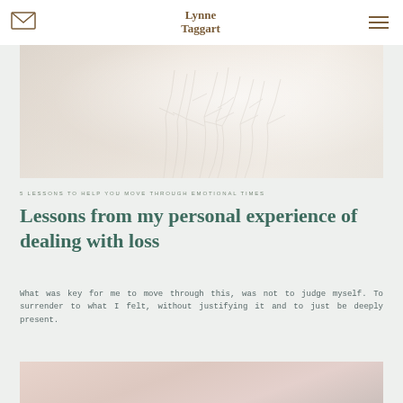Lynne Taggart
[Figure (photo): Soft blurred photo of white feathery grass/pampas stems on a pale blush background]
5 LESSONS TO HELP YOU MOVE THROUGH EMOTIONAL TIMES
Lessons from my personal experience of dealing with loss
What was key for me to move through this, was not to judge myself. To surrender to what I felt, without justifying it and to just be deeply present.
[Figure (photo): Soft blurred photo of a warm pink and cream sky/landscape scene]